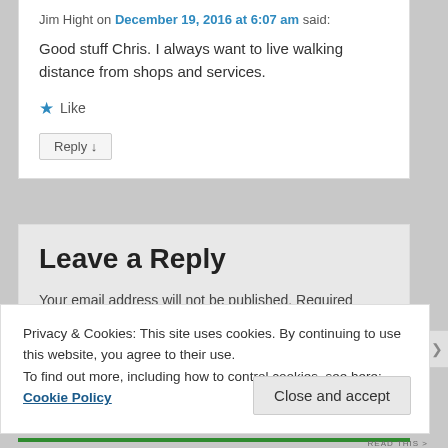Jim Hight on December 19, 2016 at 6:07 am said:
Good stuff Chris. I always want to live walking distance from shops and services.
★ Like
Reply ↓
Leave a Reply
Your email address will not be published. Required fields are marked *
Privacy & Cookies: This site uses cookies. By continuing to use this website, you agree to their use.
To find out more, including how to control cookies, see here: Cookie Policy
Close and accept